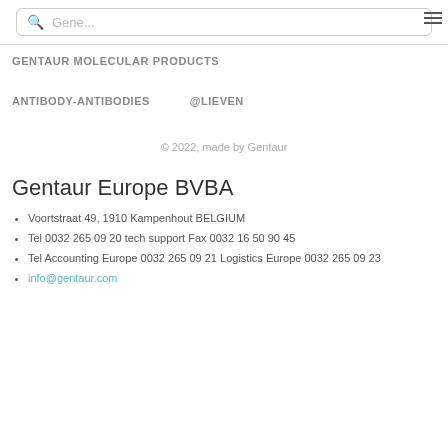Gene...
GENTAUR MOLECULAR PRODUCTS
ANTIBODY-ANTIBODIES    @LIEVEN
© 2022, made by Gentaur
Gentaur Europe BVBA
Voortstraat 49, 1910 Kampenhout BELGIUM
Tel 0032 265 09 20 tech support Fax 0032 16 50 90 45
Tel Accounting Europe 0032 265 09 21 Logistics Europe 0032 265 09 23
info@gentaur.com